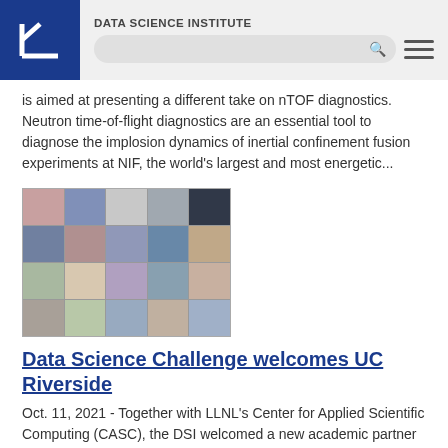DATA SCIENCE INSTITUTE
is aimed at presenting a different take on nTOF diagnostics. Neutron time-of-flight diagnostics are an essential tool to diagnose the implosion dynamics of inertial confinement fusion experiments at NIF, the world's largest and most energetic...
[Figure (photo): Grid of headshots showing multiple people in a virtual meeting / photo mosaic format, associated with the Data Science Challenge event.]
Data Science Challenge welcomes UC Riverside
Oct. 11, 2021 - Together with LLNL's Center for Applied Scientific Computing (CASC), the DSI welcomed a new academic partner to the 2021 Data Science Challenge (DSC) internship program: the University of California (UC) Riverside